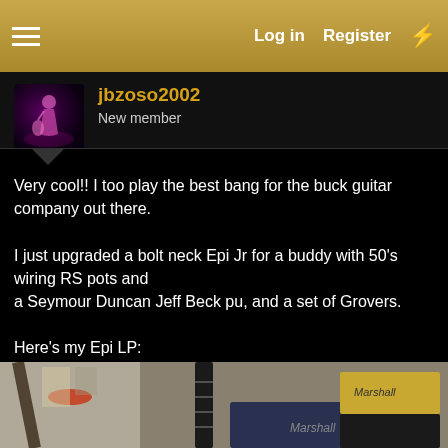Log in  Register
jbzoso2002
New member
Very cool!! I too play the best bang for the buck guitar company out there.

I just upgraded a bolt neck Epi Jr for a buddy with 50's wiring RS pots and
a Seymour Duncan Jeff Beck pu, and a set of Grovers.

Here's my Epi LP:
[Figure (photo): Photo of an Epi LP guitar leaning against Marshall amplifiers in a home music room setting.]